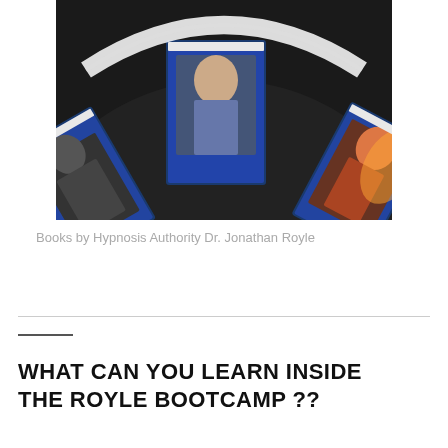[Figure (photo): A fan of blue-covered books by Hypnosis Authority Dr. Jonathan Royle, spread open on a dark surface showing three visible covers with photographs of people on them.]
Books by Hypnosis Authority Dr. Jonathan Royle
WHAT CAN YOU LEARN INSIDE THE ROYLE BOOTCAMP ??